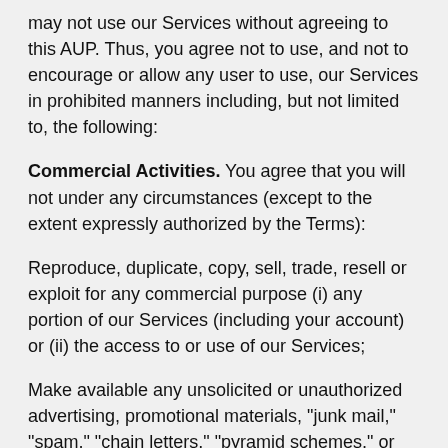may not use our Services without agreeing to this AUP. Thus, you agree not to use, and not to encourage or allow any user to use, our Services in prohibited manners including, but not limited to, the following:
Commercial Activities. You agree that you will not under any circumstances (except to the extent expressly authorized by the Terms):
Reproduce, duplicate, copy, sell, trade, resell or exploit for any commercial purpose (i) any portion of our Services (including your account) or (ii) the access to or use of our Services;
Make available any unsolicited or unauthorized advertising, promotional materials, "junk mail," "spam," "chain letters," "pyramid schemes," or any other form of solicitation through our Services;
Use our Services or any part thereof for any commercial